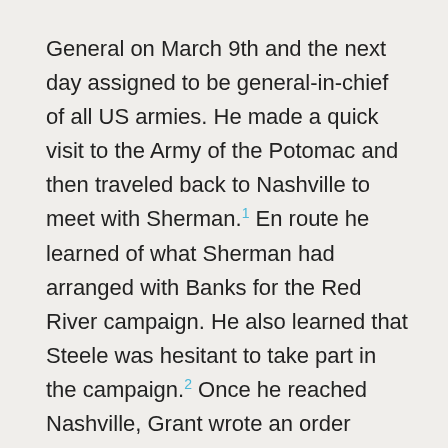General on March 9th and the next day assigned to be general-in-chief of all US armies. He made a quick visit to the Army of the Potomac and then traveled back to Nashville to meet with Sherman.[1] En route he learned of what Sherman had arranged with Banks for the Red River campaign. He also learned that Steele was hesitant to take part in the campaign.[2] Once he reached Nashville, Grant wrote an order directing Steele to move in full cooperation with Banks, thus setting in motion the Arkansas portion of the campaign, alternatively known as the Camden Expedition.[3] He also wrote an order to Banks for the first time. Quotes in the following paragraphs come from that order.[4]

It has been claimed that Grant had formulated a grand strategy and that part of this strategy was a campaign against Mobile instead of the one up the Red River. But